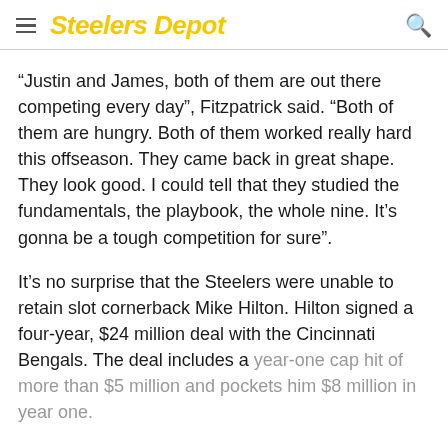Steelers Depot
“Justin and James, both of them are out there competing every day”, Fitzpatrick said. “Both of them are hungry. Both of them worked really hard this offseason. They came back in great shape. They look good. I could tell that they studied the fundamentals, the playbook, the whole nine. It’s gonna be a tough competition for sure”.
It’s no surprise that the Steelers were unable to retain slot cornerback Mike Hilton. Hilton signed a four-year, $24 million deal with the Cincinnati Bengals. The deal includes a year-one cap hit of more than $5 million and pockets him $8 million in year one.